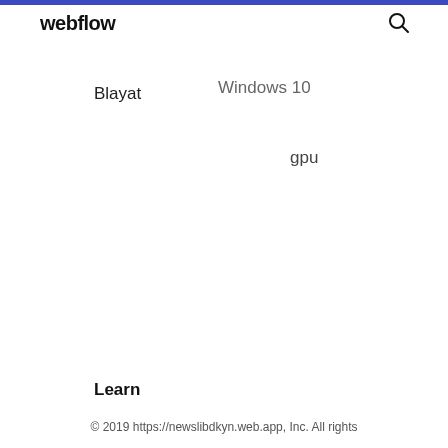webflow
Blayat
Windows 10
gpu
Learn
© 2019 https://newslibdkyn.web.app, Inc. All rights